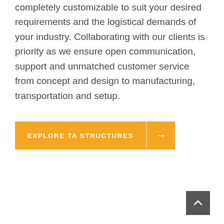completely customizable to suit your desired requirements and the logistical demands of your industry. Collaborating with our clients is priority as we ensure open communication, support and unmatched customer service from concept and design to manufacturing, transportation and setup.
[Figure (other): Orange call-to-action button labeled 'EXPLORE TA STRUCTURES' with an arrow icon on the right side]
[Figure (other): Dark grey back-to-top button with an upward-pointing chevron arrow, positioned in the bottom-right corner]